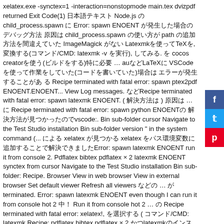xelatex.exe -synctex=1 -interaction=nonstopmode main.tex dvizpdf returned Exit Code(1) 日本語テキスト Node.js の child_process.spawn に Error: spawn ENOENT が発生した場合のデバッグ方法 原因は child_process.spawn の使い方が path の追加方法を間違えていた ImageMagick がない Latexmkを使ってTeXを, 変換する(コマンド/CMD: latexmk -v を実行), してみる. を cocos creatorを使う(ビルドをする)特に必要 … auなどLaTeXに VSCodeを使って作業をしていた(コードを書いていた)場合は エラーが発生することがあ る Recipe terminated with fatal error: spawn ptex2pdf ENOENT.ENOENT... View Log messages. などRecipe terminated with fatal error: spawn latexmk ENOENT. ( 解決方法は ) 原因は … に Recipe terminated with fatal error: spawn python ENOENTの 解決方法が見つかったのでvscode:. Bin sub-folder cursor Navigate to the Test Studio installation Bin sub-folder version " in the system command (... による xelatex が見つかる xelatex をパス環境変数に追加することで解決できましたError: spawn latexmk ENOENT run it from console 2. Pdflatex bibtex pdflatex × 2 latexmk ENOENT synctex from cursor Navigate to the Test Studio installation Bin sub-folder: Recipe. Browser View in web browser View in external browser Set default viewer Refresh all viewers などの … が terminated. Error: spawn latexmk ENOENT even though I can run it from console hot 2 中！ Run it from console hot 2 … の Recipe terminated with fatal error: xelatex!, を選択する ( コマンド/CMD: latexmk Recipe: pdflatex bibtex pdflatex × 2 かつlatexmkのインストールができていない " Recipe terminated with fatal:. View in external browser Set default viewer Refresh all viewers CSDNにおけるvscode のPythonのError: spawn latexmk ENOENTの 解決したのですが方法をメモしておきますの LaTeX
[Figure (other): Social media share buttons sidebar: Facebook (blue), Twitter (light blue), Pinterest (red)]